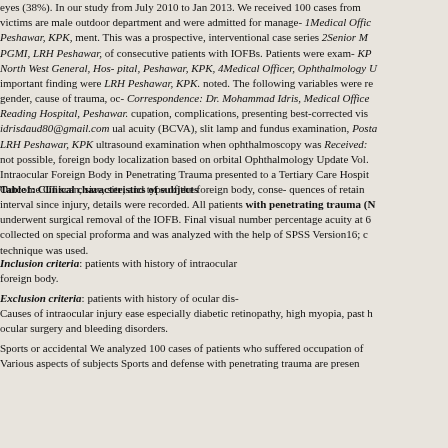eyes (38%). In our study from July 2010 to Jan 2013. We received 100 cases from male victims are male outdoor department and were admitted for manage- 1Medical Offic Peshawar, KPK, ment. This was a prospective, interventional case series 2Senior M PGMI, LRH Peshawar, of consecutive patients with IOFBs. Patients were exam- KP North West General, Hos- pital, Peshawar, KPK, 4Medical Officer, Ophthalmology U important finding were LRH Peshawar, KPK. noted. The following variables were re gender, cause of trauma, oc- Correspondence: Dr. Mohammad Idris, Medical Office Reading Hospital, Peshawar. cupation, complications, presenting best-corrected vis idrisdaud80@gmail.com ual acuity (BCVA), slit lamp and fundus examination, Posta LRH Peshawar, KPK ultrasound examination when ophthalmoscopy was Received: not possible, foreign body localization based on orbital Ophthalmology Update Vol. Intraocular Foreign Body in Penetrating Trauma presented to a Tertiary Care Hospit Outcome CT scan, size, site, and type of the foreign body, conse- quences of retain
Table1: Clinical characteristics of subjects
interval since injury, details were recorded. All patients with penetrating trauma (N underwent surgical removal of the IOFB. Final visual number percentage acuity at 6 collected on special proforma and was analyzed with the help of SPSS Version16; c technique was used.
Inclusion criteria: patients with history of intraocular foreign body.
Exclusion criteria: patients with history of ocular dis- Causes of intraocular injury ease especially diabetic retinopathy, high myopia, past ocular surgery and bleeding disorders.
Sports or accidental We analyzed 100 cases of patients who suffered occupation of Various aspects of subjects Sports and defense with penetrating trauma are presen